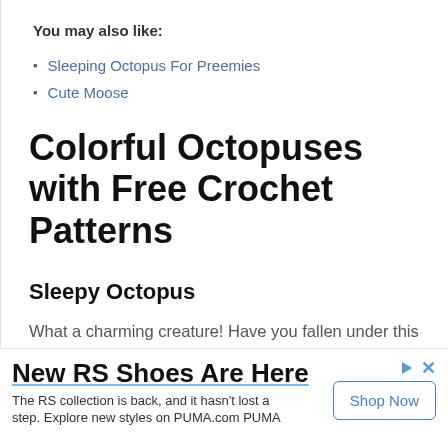You may also like:
Sleeping Octopus For Preemies
Cute Moose
Colorful Octopuses with Free Crochet Patterns
Sleepy Octopus
What a charming creature! Have you fallen under this little's spell as well? We bet you have! You can adjust the
New RS Shoes Are Here
The RS collection is back, and it hasn't lost a step. Explore new styles on PUMA.com PUMA
Shop Now